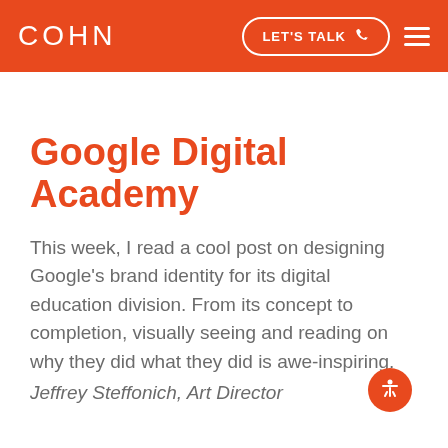COHN | LET'S TALK
Google Digital Academy
This week, I read a cool post on designing Google's brand identity for its digital education division. From its concept to completion, visually seeing and reading on why they did what they did is awe-inspiring.
Jeffrey Steffonich, Art Director